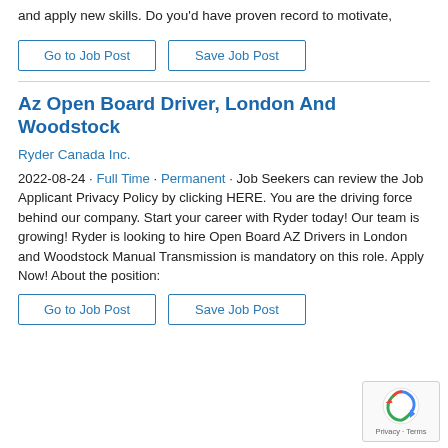and apply new skills. Do you'd have proven record to motivate,
Go to Job Post | Save Job Post
Az Open Board Driver, London And Woodstock
Ryder Canada Inc.
2022-08-24 · Full Time · Permanent · Job Seekers can review the Job Applicant Privacy Policy by clicking HERE. You are the driving force behind our company. Start your career with Ryder today! Our team is growing! Ryder is looking to hire Open Board AZ Drivers in London and Woodstock Manual Transmission is mandatory on this role. Apply Now! About the position:
Go to Job Post | Save Job Post